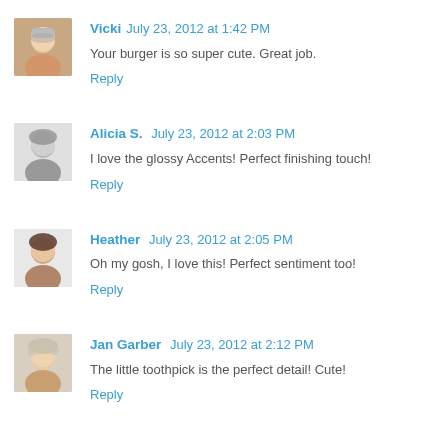[Figure (photo): Avatar photo of Vicki, elderly person]
Vicki July 23, 2012 at 1:42 PM
Your burger is so super cute. Great job.
Reply
[Figure (photo): Avatar photo of Alicia S., black and white photo]
Alicia S. July 23, 2012 at 2:03 PM
I love the glossy Accents! Perfect finishing touch!
Reply
[Figure (photo): Avatar photo of Heather, woman with dark hair]
Heather July 23, 2012 at 2:05 PM
Oh my gosh, I love this! Perfect sentiment too!
Reply
[Figure (photo): Avatar photo of Jan Garber, older woman]
Jan Garber July 23, 2012 at 2:12 PM
The little toothpick is the perfect detail! Cute!
Reply